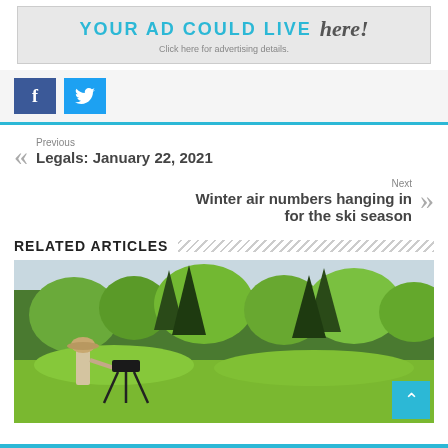[Figure (other): Advertisement banner: YOUR AD COULD LIVE here! Click here for advertising details.]
[Figure (other): Social media share buttons: Facebook (blue) and Twitter (light blue)]
Previous
Legals: January 22, 2021
Next
Winter air numbers hanging in for the ski season
RELATED ARTICLES
[Figure (photo): A woman in a sun hat with a camera on a tripod photographing in a green forested landscape.]